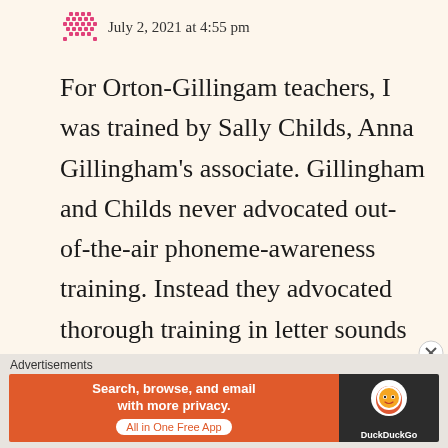July 2, 2021 at 4:55 pm
For Orton-Gillingam teachers, I was trained by Sally Childs, Anna Gillingham's associate. Gillingham and Childs never advocated out-of-the-air phoneme-awareness training. Instead they advocated thorough training in letter sounds and in applying them to
Advertisements Search, browse, and email with more privacy. All in One Free App DuckDuckGo